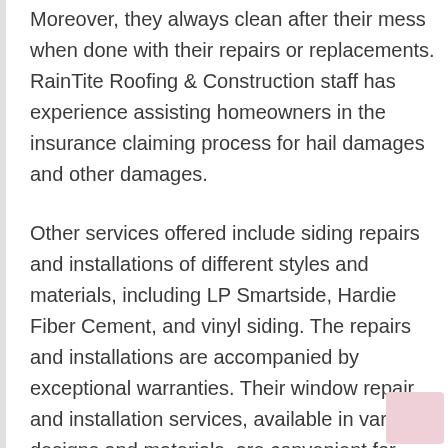Moreover, they always clean after their mess when done with their repairs or replacements. RainTite Roofing & Construction staff has experience assisting homeowners in the insurance claiming process for hail damages and other damages.
Other services offered include siding repairs and installations of different styles and materials, including LP Smartside, Hardie Fiber Cement, and vinyl siding. The repairs and installations are accompanied by exceptional warranties. Their window repair and installation services, available in various designs and materials, are convenient for Rapid City's homeowners to improve their home energy efficiency.